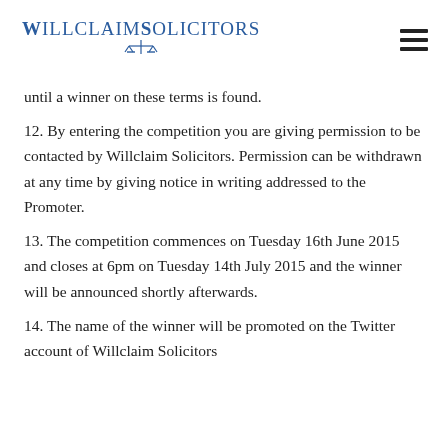WillclaimSolicitors
until a winner on these terms is found.
12. By entering the competition you are giving permission to be contacted by Willclaim Solicitors. Permission can be withdrawn at any time by giving notice in writing addressed to the Promoter.
13. The competition commences on Tuesday 16th June 2015 and closes at 6pm on Tuesday 14th July 2015 and the winner will be announced shortly afterwards.
14. The name of the winner will be promoted on the Twitter account of Willclaim Solicitors